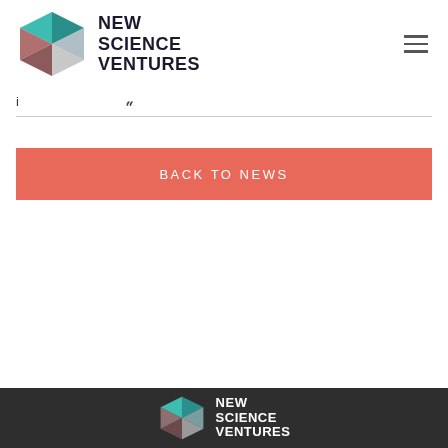NEW SCIENCE VENTURES
i u
BACK TO NEWS
[Figure (logo): New Science Ventures logo in white on dark footer background]